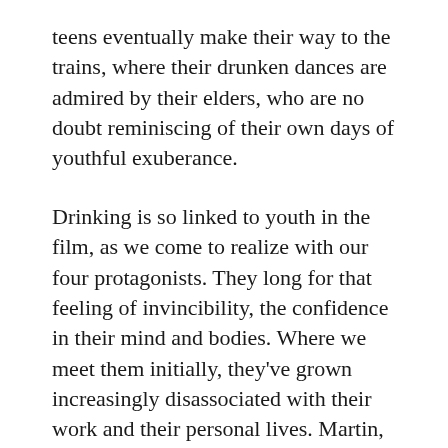teens eventually make their way to the trains, where their drunken dances are admired by their elders, who are no doubt reminiscing of their own days of youthful exuberance.
Drinking is so linked to youth in the film, as we come to realize with our four protagonists. They long for that feeling of invincibility, the confidence in their mind and bodies. Where we meet them initially, they've grown increasingly disassociated with their work and their personal lives. Martin, played by the incomparable Mads Mikkelsen, is a history teacher that has lost